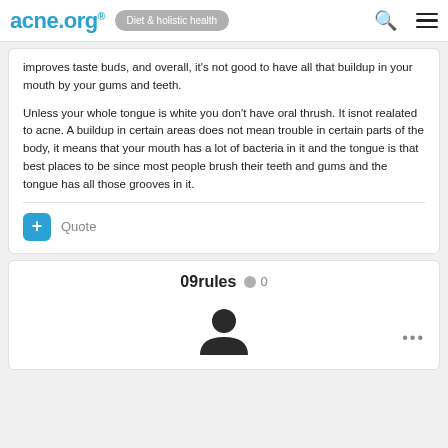acne.org® | Diet & holistic health
improves taste buds, and overall, it's not good to have all that buildup in your mouth by your gums and teeth.
Unless your whole tongue is white you don't have oral thrush. It isnot realated to acne. A buildup in certain areas does not mean trouble in certain parts of the body, it means that your mouth has a lot of bacteria in it and the tongue is that best places to be since most people brush their teeth and gums and the tongue has all those grooves in it.
09rules  0
[Figure (illustration): User avatar icon for 09rules — dark circular head/shoulders silhouette on white background]